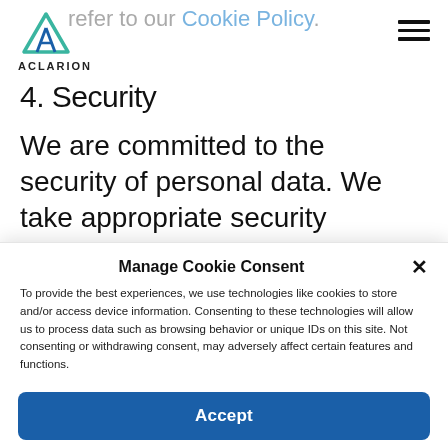refer to our Cookie Policy.
[Figure (logo): Aclarion logo with stylized A mark and ACLARION wordmark]
4. Security
We are committed to the security of personal data. We take appropriate security measures to limit abuse of
Manage Cookie Consent
To provide the best experiences, we use technologies like cookies to store and/or access device information. Consenting to these technologies will allow us to process data such as browsing behavior or unique IDs on this site. Not consenting or withdrawing consent, may adversely affect certain features and functions.
Accept
Cookie Policy   Privacy Statement   Imprint